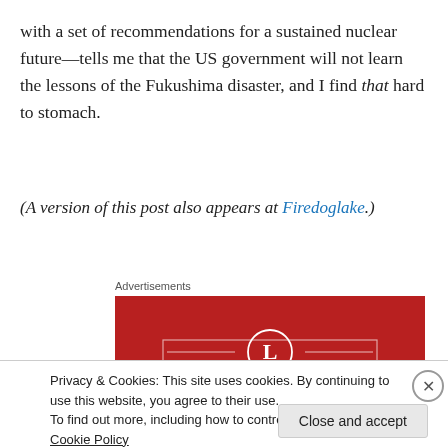with a set of recommendations for a sustained nuclear future—tells me that the US government will not learn the lessons of the Fukushima disaster, and I find that hard to stomach.
(A version of this post also appears at Firedoglake.)
Advertisements
[Figure (illustration): Longreads advertisement banner in red with white text reading 'The best stories on']
Privacy & Cookies: This site uses cookies. By continuing to use this website, you agree to their use.
To find out more, including how to control cookies, see here: Cookie Policy